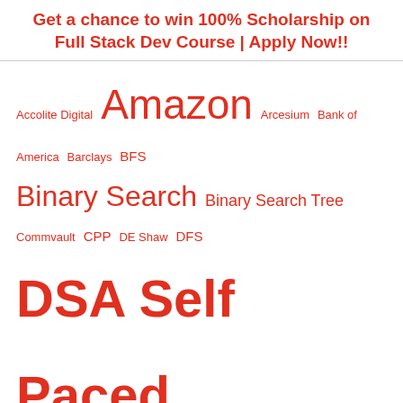Get a chance to win 100% Scholarship on Full Stack Dev Course | Apply Now!!
[Figure (infographic): Tag cloud of topics and companies including Amazon, DSA Self Paced, SDE Sheet, TCS NQT, Binary Search, sorting, etc., all rendered in red at varying font sizes indicating frequency/importance.]